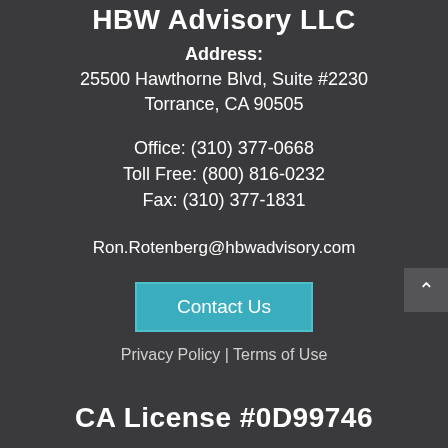HBW Advisory LLC
Address:
25500 Hawthorne Blvd, Suite #2230
Torrance, CA 90505
Office: (310) 377-0668
Toll Free: (800) 816-0232
Fax: (310) 377-1831
Ron.Rotenberg@hbwadvisory.com
Contact Us
Privacy Policy | Terms of Use
CA License #0D99746